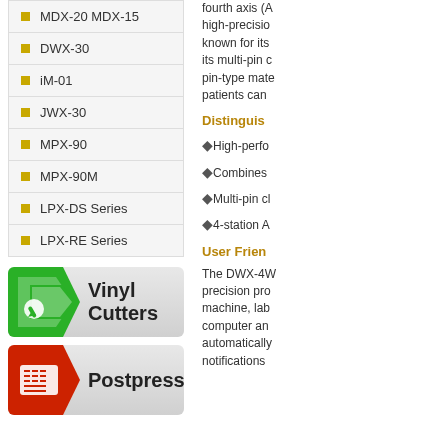MDX-20 MDX-15
DWX-30
iM-01
JWX-30
MPX-90
MPX-90M
LPX-DS Series
LPX-RE Series
Vinyl Cutters
Postpress
fourth axis (A... high-precision known for its its multi-pin c pin-type mate patients can
Distinguis
High-perfo
Combines
Multi-pin cl
4-station A
User Frien
The DWX-4W precision pro machine, lab computer an automatically notifications